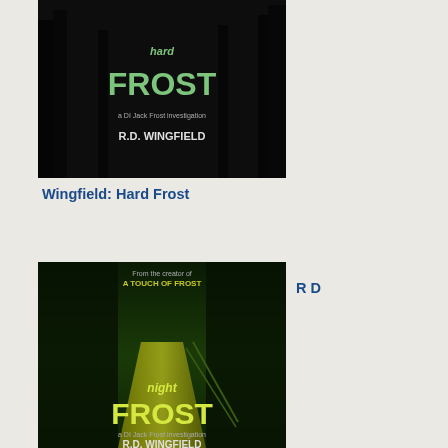[Figure (photo): Book cover: Hard Frost by R.D. Wingfield — dark forest background with green title text]
Wingfield: Hard Frost
[Figure (photo): Book cover: Night Frost by R.D. Wingfield — dark road through forest in yellow-green tones]
R D
Wingfield: Night Frost
[Figure (photo): Book cover: Cruel as the Grave by Cynthia Harrod-Eagles — dark background with gym weights]
Cynthia Harrod-Eagles: Cruel as the Grave
lun
anc
che
out
the
Ric
Cro
coll
anc
fou
two
or
thre
of
the
ran
title
anc
one
The
Wil
wa:
pric